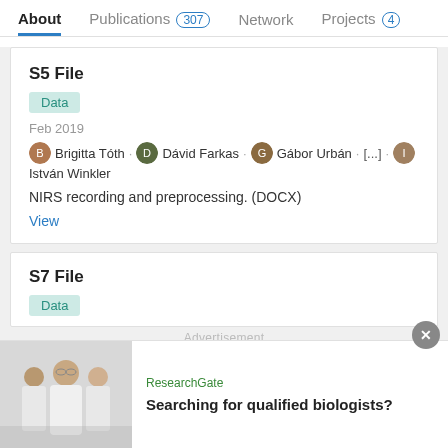About  Publications 307  Network  Projects 4
S5 File
Data
Feb 2019
Brigitta Tóth · Dávid Farkas · Gábor Urbán · [...] · István Winkler
NIRS recording and preprocessing. (DOCX)
View
S7 File
Data
Advertisement
[Figure (photo): Group of scientists/biologists in lab coats]
ResearchGate
Searching for qualified biologists?